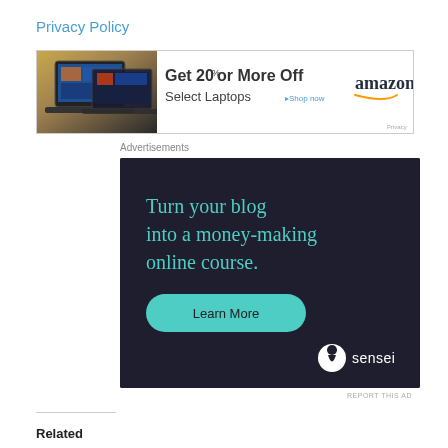Privacy Policy
[Figure (infographic): Amazon advertisement banner: laptops image on left, text 'Get 20% or More Off Select Laptops >Shop now' in center, Amazon logo on right]
Advertisements
[Figure (infographic): Sensei advertisement: dark background with teal text 'Turn your blog into a money-making online course.' with a 'Learn More' teal button and Sensei logo at bottom right]
REPORT THIS AD
Related